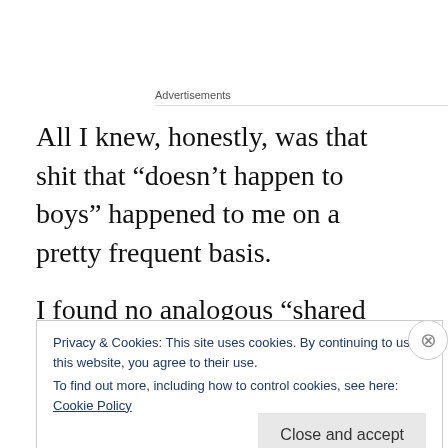Advertisements
All I knew, honestly, was that shit that “doesn’t happen to boys” happened to me on a pretty frequent basis.
I found no analogous “shared boyhood” experience to cling to when I was 10 and my male friend broke my nose when I told him he was cute and “reassured” me that he did so “for my own good” to remind me “I’m not allowed” to
Privacy & Cookies: This site uses cookies. By continuing to use this website, you agree to their use.
To find out more, including how to control cookies, see here: Cookie Policy
Close and accept